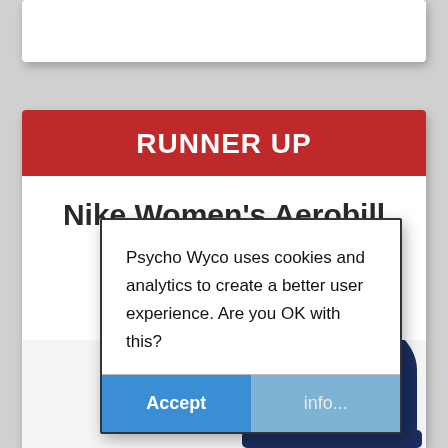[Figure (screenshot): Top portion of a product review card, white background, partially visible at top of page]
RUNNER UP
Nike Women’s Aerobill
Psycho Wyco uses cookies and analytics to create a better user experience. Are you OK with this?
Accept
info...
[Figure (photo): Partial view of a navy blue Nike cap (Aerobill) with white swoosh, visible at the bottom of the page]